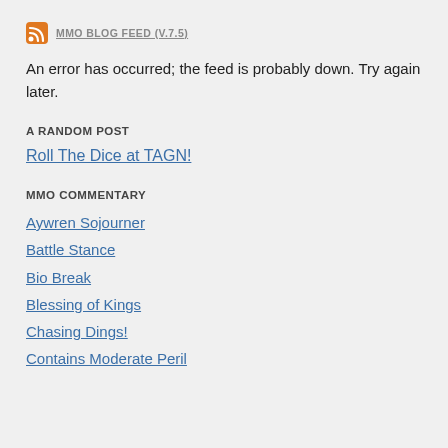MMO BLOG FEED (V.7.5)
An error has occurred; the feed is probably down. Try again later.
A RANDOM POST
Roll The Dice at TAGN!
MMO COMMENTARY
Aywren Sojourner
Battle Stance
Bio Break
Blessing of Kings
Chasing Dings!
Contains Moderate Peril